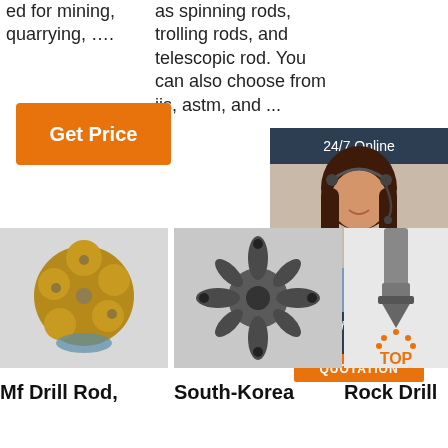ed for mining, quarrying, ….
as spinning rods, trolling rods, and telescopic rod. You can also choose from jis, astm, and ...
Get Price
Get Price
[Figure (photo): Customer service representative with headset, 24/7 Online chat widget with QUOTATION button]
[Figure (photo): Gold/bronze colored drill bit head - Mf Drill Rod product image]
[Figure (photo): Dark metal multi-arm drill bit component - South-Korea product image]
[Figure (photo): Rock drill bit with TOP badge - Rock Drill product image]
Mf Drill Rod,
South-Korea
Rock Drill